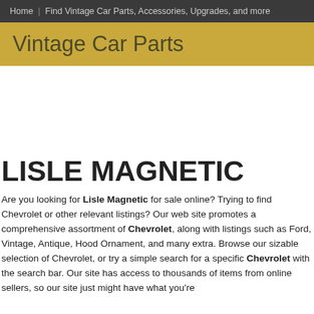Home | Find Vintage Car Parts, Accessories, Upgrades, and more
Vintage Car Parts
LISLE MAGNETIC
Are you looking for Lisle Magnetic for sale online? Trying to find Chevrolet or other relevant listings? Our web site promotes a comprehensive assortment of Chevrolet, along with listings such as Ford, Vintage, Antique, Hood Ornament, and many extra. Browse our sizable selection of Chevrolet, or try a simple search for a specific Chevrolet with the search bar. Our site has access to thousands of items from online sellers, so our site just might have what you're